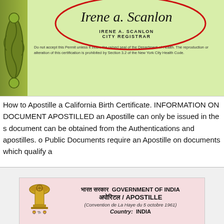[Figure (photo): Top portion of a New York City birth certificate showing a cursive signature 'Irene A. Scanlon' circled in red, with text 'IRENE A. SCANLON CITY REGISTRAR' and a disclaimer about the raised seal, on a green background with decorative border.]
How to Apostille a California Birth Certificate. INFORMATION ON DOCUMENT APOSTILLED an Apostille can only be issued in the s document can be obtained from the Authentications and apostilles. o Public Documents require an Apostille on documents which qualify a
[Figure (photo): Bottom portion showing an India Government Apostille certificate header with Ashoka Pillar emblem, text in Hindi 'भारत सरकार GOVERNMENT OF INDIA', 'अपोरिटल / APOSTILLE', '(Convention de La Haye du 5 octobre 1961)', and 'Country: INDIA' on a pink/beige background.]